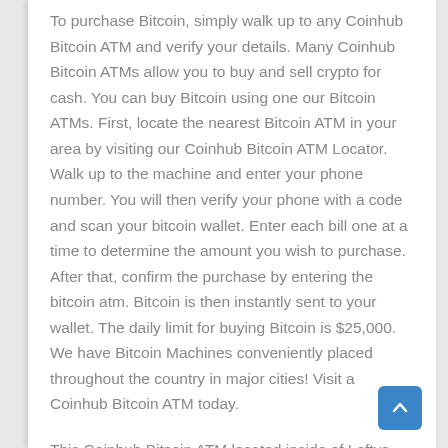To purchase Bitcoin, simply walk up to any Coinhub Bitcoin ATM and verify your details. Many Coinhub Bitcoin ATMs allow you to buy and sell crypto for cash. You can buy Bitcoin using one our Bitcoin ATMs. First, locate the nearest Bitcoin ATM in your area by visiting our Coinhub Bitcoin ATM Locator. Walk up to the machine and enter your phone number. You will then verify your phone with a code and scan your bitcoin wallet. Enter each bill one at a time to determine the amount you wish to purchase. After that, confirm the purchase by entering the bitcoin atm. Bitcoin is then instantly sent to your wallet. The daily limit for buying Bitcoin is $25,000. We have Bitcoin Machines conveniently placed throughout the country in major cities! Visit a Coinhub Bitcoin ATM today.
This Coinhub Bitcoin ATM located inside of Leftys Smoke and Vape located at 5365 Ridge Ave,